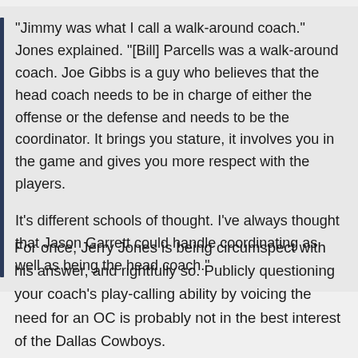"Jimmy was what I call a walk-around coach." Jones explained. "[Bill] Parcells was a walk-around coach. Joe Gibbs is a guy who believes that the head coach needs to be in charge of either the offense or the defense and needs to be the coordinator. It brings you stature, it involves you in the game and gives you more respect with the players.

It's different schools of thought. I've always thought that Jason Garrett could handle coordinating as well as being the head coach."
For once, Jerry Jones is being circumspect with his answer, and rightfully so. Publicly questioning your coach's play-calling ability by voicing the need for an OC is probably not in the best interest of the Dallas Cowboys.